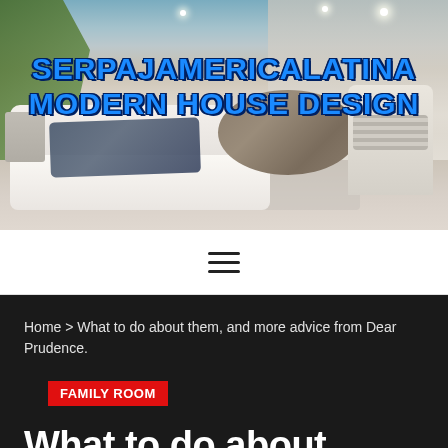[Figure (photo): Modern living room interior with white sectional sofa, round wooden coffee table, armchair on right, staircase in background, and greenery on left. Banner overlaid with website title.]
SERPAJAMERICALATINA MODERN HOUSE DESIGN
[Figure (other): Hamburger menu icon with three horizontal lines]
Home > What to do about them, and more advice from Dear Prudence.
FAMILY ROOM
What to do about them, and